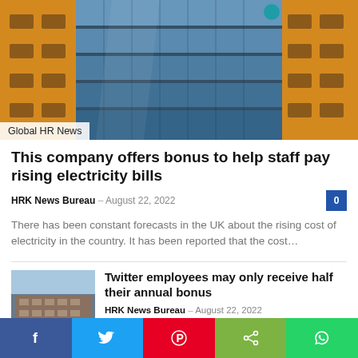[Figure (photo): Modern curved glass office building facade with orange/brown cladding on sides]
Global HR News
This company offers bonus to help staff pay rising electricity bills
HRK News Bureau – August 22, 2022
There has been constant forecasts in the UK about the rising cost of electricity in the country. It has been reported that the cost...
[Figure (photo): Brick office building with blue sky]
Twitter employees may only receive half their annual bonus
HRK News Bureau – August 22, 2022
Social sharing bar: Facebook, Twitter, Pinterest, Share, WhatsApp